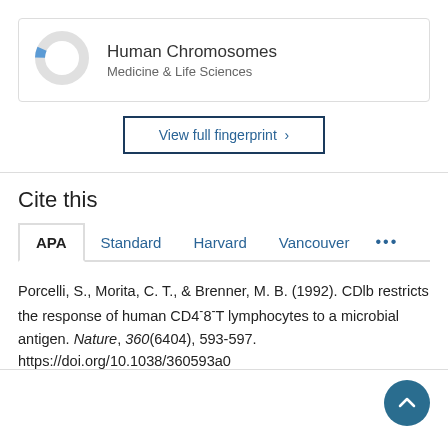[Figure (donut-chart): Small donut chart showing a small blue segment on an otherwise gray ring, representing Human Chromosomes topic coverage in Medicine & Life Sciences]
Human Chromosomes
Medicine & Life Sciences
View full fingerprint ›
Cite this
APA   Standard   Harvard   Vancouver   •••
Porcelli, S., Morita, C. T., & Brenner, M. B. (1992). CDlb restricts the response of human CD4-8-T lymphocytes to a microbial antigen. Nature, 360(6404), 593-597. https://doi.org/10.1038/360593a0